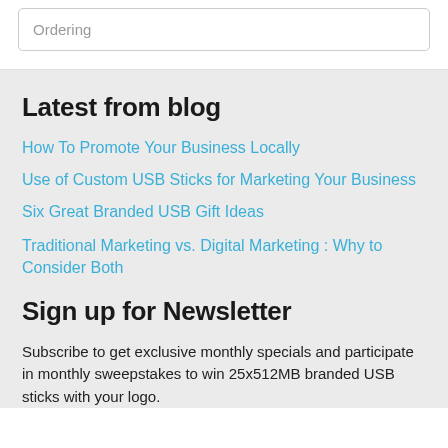Ordering
Latest from blog
How To Promote Your Business Locally
Use of Custom USB Sticks for Marketing Your Business
Six Great Branded USB Gift Ideas
Traditional Marketing vs. Digital Marketing : Why to Consider Both
Sign up for Newsletter
Subscribe to get exclusive monthly specials and participate in monthly sweepstakes to win 25x512MB branded USB sticks with your logo.